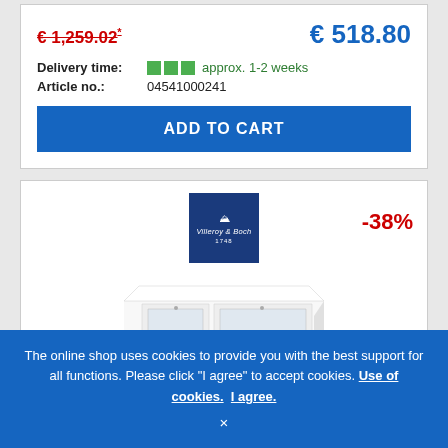€ 1,259.02* (strikethrough, old price) | € 518.80 (new price)
Delivery time: approx. 1-2 weeks
Article no.: 04541000241
ADD TO CART
[Figure (photo): Villeroy & Boch brand logo on blue background, double sink product with -38% discount badge]
The online shop uses cookies to provide you with the best support for all functions. Please click "I agree" to accept cookies. Use of cookies. I agree.